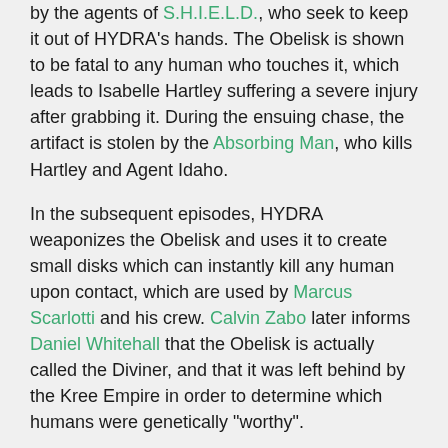by the agents of S.H.I.E.L.D., who seek to keep it out of HYDRA's hands. The Obelisk is shown to be fatal to any human who touches it, which leads to Isabelle Hartley suffering a severe injury after grabbing it. During the ensuing chase, the artifact is stolen by the Absorbing Man, who kills Hartley and Agent Idaho.
In the subsequent episodes, HYDRA weaponizes the Obelisk and uses it to create small disks which can instantly kill any human upon contact, which are used by Marcus Scarlotti and his crew. Calvin Zabo later informs Daniel Whitehall that the Obelisk is actually called the Diviner, and that it was left behind by the Kree Empire in order to determine which humans were genetically "worthy".
In the mid-season finale, the Diviner is activated and opens up to reveal a Terrigen Crystal, which activates Terrigenisis in Skye (whose real name is revealed to be